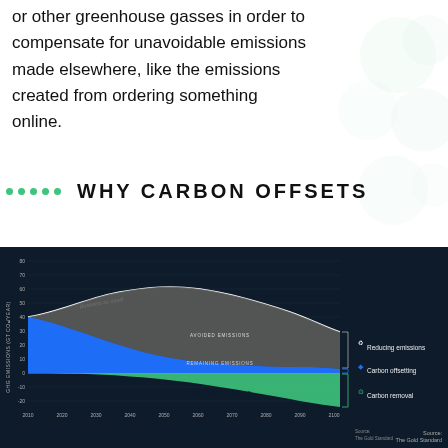or other greenhouse gasses in order to compensate for unavoidable emissions made elsewhere, like the emissions created from ordering something online.
WHY CARBON OFFSETS
[Figure (area-chart): Area chart showing GHG emissions from 2010 to 2100 with three zones: avoided emissions (gray), remaining emissions (blue), and negative emissions (green), compared to business-as-usual trajectory.]
Source: The Gold Standard